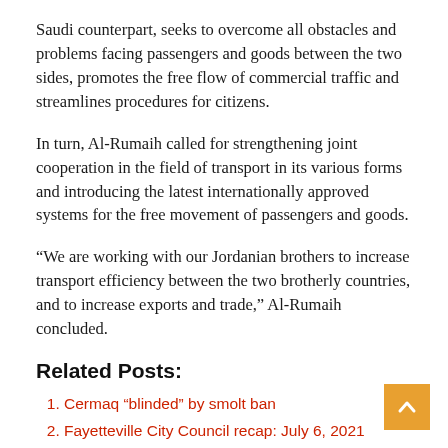Saudi counterpart, seeks to overcome all obstacles and problems facing passengers and goods between the two sides, promotes the free flow of commercial traffic and streamlines procedures for citizens.
In turn, Al-Rumaih called for strengthening joint cooperation in the field of transport in its various forms and introducing the latest internationally approved systems for the free movement of passengers and goods.
“We are working with our Jordanian brothers to increase transport efficiency between the two brotherly countries, and to increase exports and trade,” Al-Rumaih concluded.
Related Posts:
Cermaq “blinded” by smolt ban
Fayetteville City Council recap: July 6, 2021
Injunction to restock two Discovery Island fish farms fails in federal court – Coast Mountain News
Hurricane Elsa intensifies as it approaches